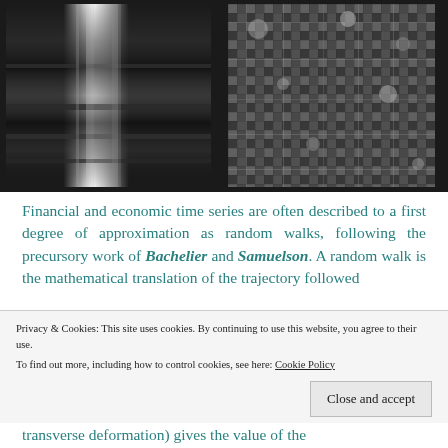[Figure (other): Left grayscale image showing vertical streaks with bright vertical band on dark background — likely a matrix or spectrogram visualization]
[Figure (other): Right grayscale image showing a grid-like texture pattern with irregular bright and dark patches — likely a correlation or covariance matrix]
Financial and economic time series are often described to a first degree of approximation as random walks, following the precursory work of Bachelier and Samuelson. A random walk is the mathematical translation of the trajectory followed
Privacy & Cookies: This site uses cookies. By continuing to use this website, you agree to their use.
To find out more, including how to control cookies, see here: Cookie Policy
Close and accept
transverse deformation) gives the value of the